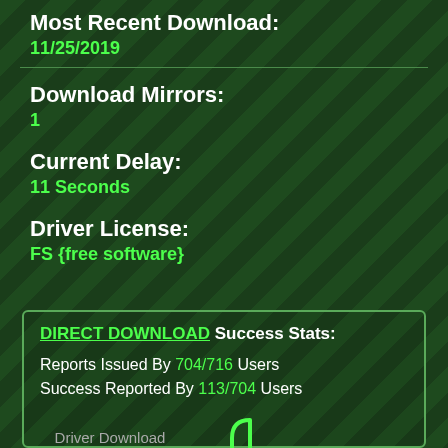Most Recent Download:
11/25/2019
Download Mirrors:
1
Current Delay:
11 Seconds
Driver License:
FS {free software}
DIRECT DOWNLOAD Success Stats:
Reports Issued By 704/716 Users
Success Reported By 113/704 Users
Driver Download Score
75/100
[Figure (illustration): Thumbs up icon in green outline style]